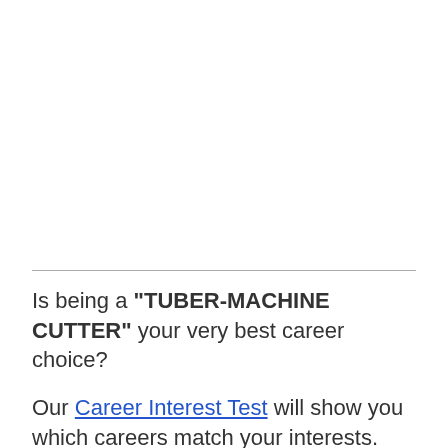Is being a "TUBER-MACHINE CUTTER" your very best career choice?
Our Career Interest Test will show you which careers match your interests.
Our Free Personality Test will show you which